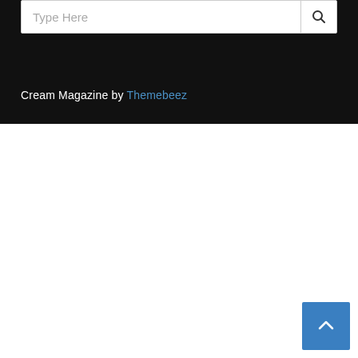Type Here
Cream Magazine by Themebeez